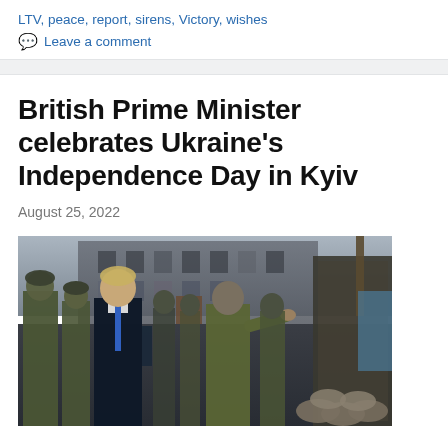LTV, peace, report, sirens, Victory, wishes
Leave a comment
British Prime Minister celebrates Ukraine's Independence Day in Kyiv
August 25, 2022
[Figure (photo): Photo of Boris Johnson and Volodymyr Zelensky walking outdoors in Kyiv, surrounded by military personnel, with sandbags and a military-camouflaged structure visible. A large stone building is in the background.]